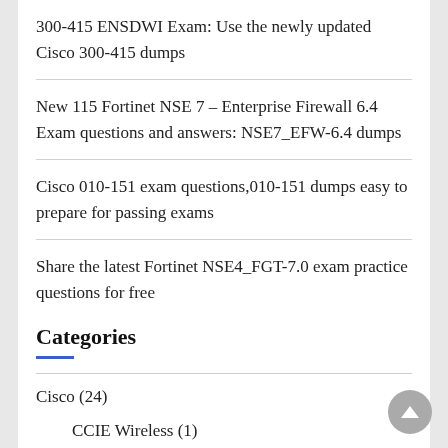300-415 ENSDWI Exam: Use the newly updated Cisco 300-415 dumps
New 115 Fortinet NSE 7 – Enterprise Firewall 6.4 Exam questions and answers: NSE7_EFW-6.4 dumps
Cisco 010-151 exam questions,010-151 dumps easy to prepare for passing exams
Share the latest Fortinet NSE4_FGT-7.0 exam practice questions for free
Categories
Cisco (24)
CCIE Wireless (1)